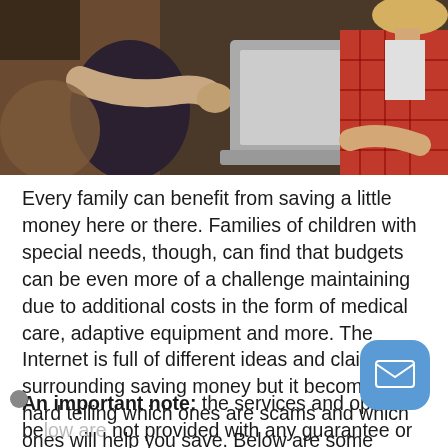[Figure (photo): Two people sitting together using laptops, one person in a red plaid shirt visible on the right side]
Every family can benefit from saving a little money here or there. Families of children with special needs, though, can find that budgets can be even more of a challenge maintaining due to additional costs in the form of medical care, adaptive equipment and more. The Internet is full of different ideas and claims surrounding saving money but it becomes hard telling which ones are scams and which ones will help you save. Below are some suggestions we have for your family to try out this year!
An important note: the services and options below are not provided with any guarantee or assurances of quality